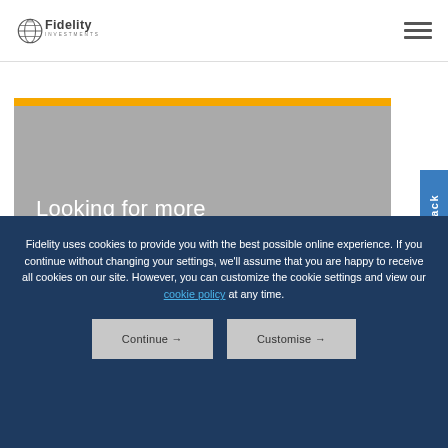[Figure (logo): Fidelity Investments logo with globe graphic and brand name]
[Figure (illustration): Hero image area with orange top bar, gray background, and white heading text: 'Looking for more ways to invest']
Fidelity uses cookies to provide you with the best possible online experience. If you continue without changing your settings, we'll assume that you are happy to receive all cookies on our site. However, you can customize the cookie settings and view our cookie policy at any time.
Continue →
Customise →